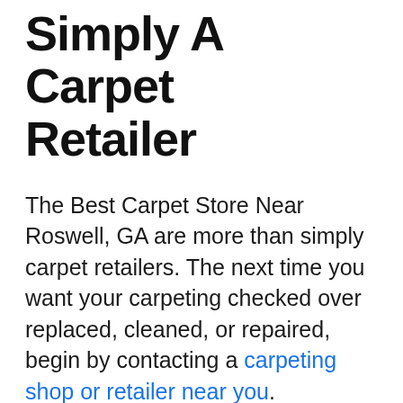Simply A Carpet Retailer
The Best Carpet Store Near Roswell, GA are more than simply carpet retailers. The next time you want your carpeting checked over replaced, cleaned, or repaired, begin by contacting a carpeting shop or retailer near you.
Contact Us Immediately to setup your Free In-Home Consultation or find us on